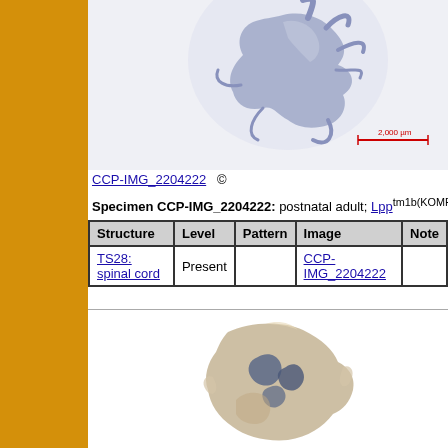[Figure (photo): Microscopy image of a biological specimen (spinal cord tissue) stained blue/purple, shown against a white background with a 2,000 µm scale bar in red.]
CCP-IMG_2204222  ©
Specimen CCP-IMG_2204222: postnatal adult; Lpp tm1b(KOMP)Wts
| Structure | Level | Pattern | Image | Note |
| --- | --- | --- | --- | --- |
| TS28: spinal cord | Present |  | CCP-IMG_2204222 |  |
[Figure (photo): Close-up photograph of a biological tissue specimen (likely spinal cord cross-section) showing blue/purple staining against white background, partially cropped at bottom of page.]